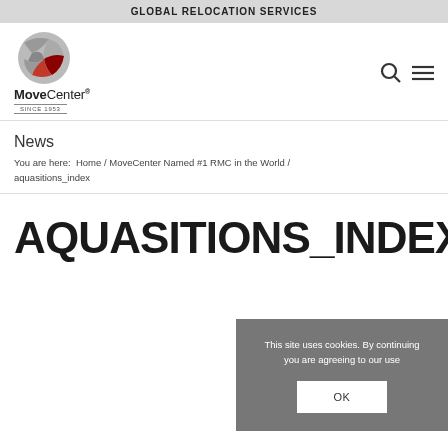GLOBAL RELOCATION SERVICES
[Figure (logo): MoveCenter logo with globe graphic and 'SINCE 1953' tagline]
News
You are here:  Home / MoveCenter Named #1 RMC in the World / aquasitions_index
AQUASITIONS_INDEX
This site uses cookies. By continuing you are agreeing to our use
OK